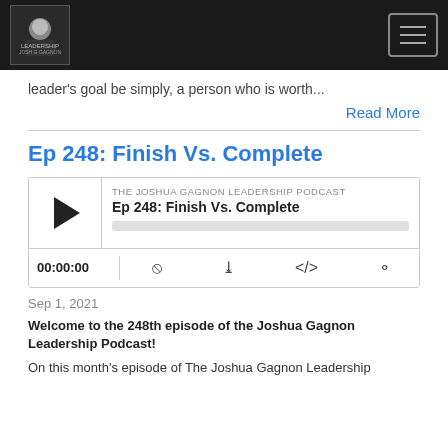Joshua Gagnon Leadership Podcast — navigation header
leader's goal be simply, a person who is worth...
Read More
Ep 248: Finish Vs. Complete
[Figure (other): Podcast audio player widget for 'Ep 248: Finish Vs. Complete' from The Joshua Gagnon Leadership Podcast, showing play button, episode title, progress bar, time display 00:00:00, and control icons for RSS, download, embed, and share.]
Sep 1, 2021
Welcome to the 248th episode of the Joshua Gagnon Leadership Podcast!
On this month's episode of The Joshua Gagnon Leadership podcast, it discusses the difference...